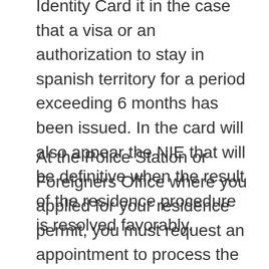Identity Card it in the case that a visa or an authorization to stay in spanish territory for a period exceeding 6 months has been issued. In the card will also appear the NIE that will be definitive when the result of the residence procedure is resolved favorably.
At the Police Station or Foreigners Office where you applied for your residence permit, you must request an appointment to process the TIE. For this you have only one month from your arrival in Spain or permission.